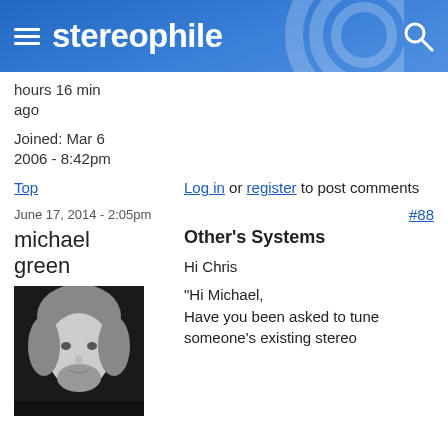stereophile
hours 16 min ago
Joined: Mar 6 2006 - 8:42pm
Top   Log in or register to post comments
June 17, 2014 - 2:05pm   #88
michael green
[Figure (photo): Profile photo of michael green, black and white headshot]
Other's Systems

Hi Chris

"Hi Michael,
Have you been asked to tune someone's existing stereo